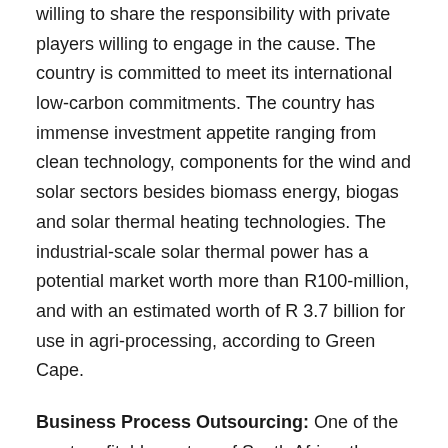willing to share the responsibility with private players willing to engage in the cause. The country is committed to meet its international low-carbon commitments. The country has immense investment appetite ranging from clean technology, components for the wind and solar sectors besides biomass energy, biogas and solar thermal heating technologies. The industrial-scale solar thermal power has a potential market worth more than R100-million, and with an estimated worth of R 3.7 billion for use in agri-processing, according to Green Cape.
Business Process Outsourcing: One of the most profitable sectors of South Africa, the business process outsourcing industry is responsible for playing a substantial role in strengthening the country's economy. The Business process outsourcing service sector in South Africa is regarded as one of the most promising sectors in the world. The country has one of the best working-class due to South Africa's competitive advantages of language skills and